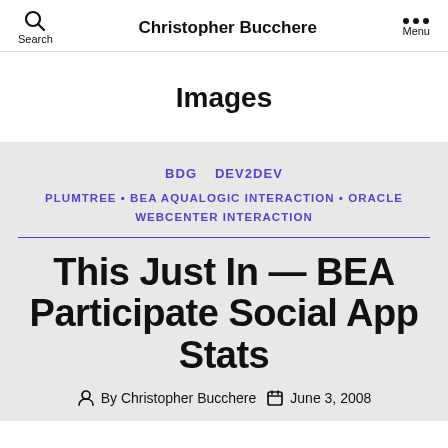Christopher Bucchere
Images
BDG  DEV2DEV
PLUMTREE • BEA AQUALOGIC INTERACTION • ORACLE WEBCENTER INTERACTION
This Just In — BEA Participate Social App Stats
By Christopher Bucchere   June 3, 2008